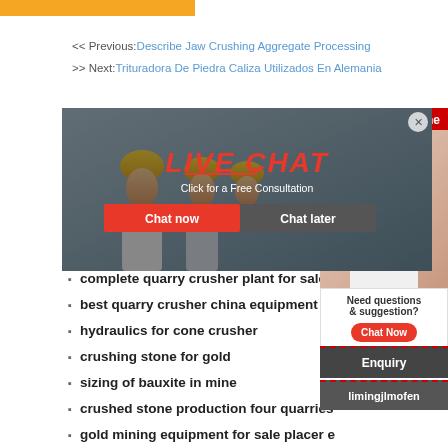<< Previous: Describe Jaw Crushing Aggregate Processing
>> Next: Trituradora De Piedra Caliza Utilizados En Alemania
grinding
how to
diaman
process
silica sand screening washing system
complete quarry crusher plant for sale i
best quarry crusher china equipment
hydraulics for cone crusher
crushing stone for gold
sizing of bauxite in mine
crushed stone production four quarries
gold mining equipment for sale placer e
[Figure (photo): Live chat popup with workers in yellow hard hats and a customer service agent with headset. Shows LIVE CHAT title, Click for a Free Consultation, Chat now and Chat later buttons.]
24Hrs Online
Need questions & suggestion?
Chat Now
Enquiry
limingjlmofen